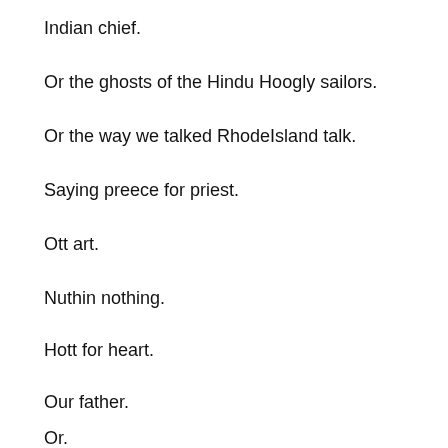Indian chief.
Or the ghosts of the Hindu Hoogly sailors.
Or the way we talked RhodeIsland talk.
Saying preece for priest.
Ott art.
Nuthin nothing.
Hott for heart.
Our father.
Or.